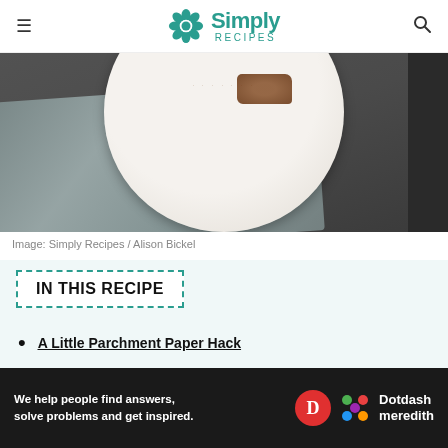Simply Recipes
[Figure (photo): Top-down view of a white plate with brownie and spices on a gray cloth against a dark background]
Image: Simply Recipes / Alison Bickel
IN THIS RECIPE
A Little Parchment Paper Hack
Delicious Ways to Play With the Recipe
Are the Brownies Done? What About Now?
[Figure (screenshot): Dotdash Meredith ad banner: We help people find answers, solve problems and get inspired.]